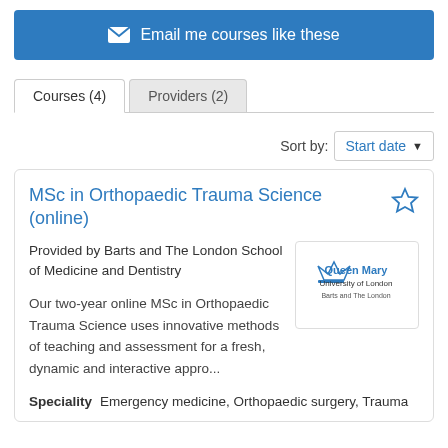Email me courses like these
Courses (4)
Providers (2)
Sort by: Start date
MSc in Orthopaedic Trauma Science (online)
Provided by Barts and The London School of Medicine and Dentistry
Our two-year online MSc in Orthopaedic Trauma Science uses innovative methods of teaching and assessment for a fresh, dynamic and interactive appro...
Speciality  Emergency medicine, Orthopaedic surgery, Trauma